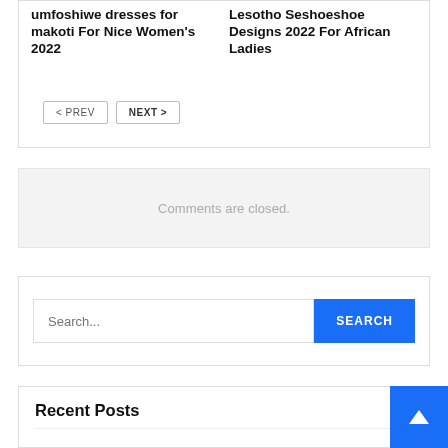umfoshiwe dresses for makoti For Nice Women's 2022
Lesotho Seshoeshoe Designs 2022 For African Ladies
< PREV
NEXT >
Comments are closed.
Search...
SEARCH
Recent Posts